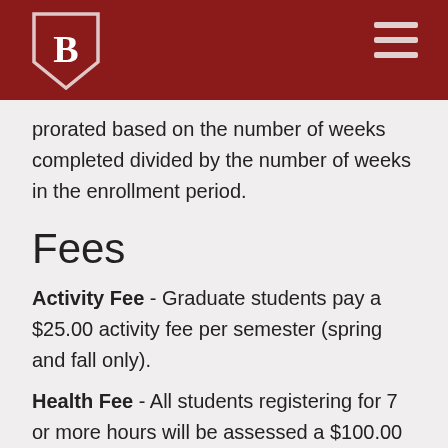prorated based on the number of weeks completed divided by the number of weeks in the enrollment period.
Fees
Activity Fee - Graduate students pay a $25.00 activity fee per semester (spring and fall only).
Health Fee - All students registering for 7 or more hours will be assessed a $100.00 health fee per semester at the time of registration.
Vehicle Registration - Fees for automobile registration for the academic year range from